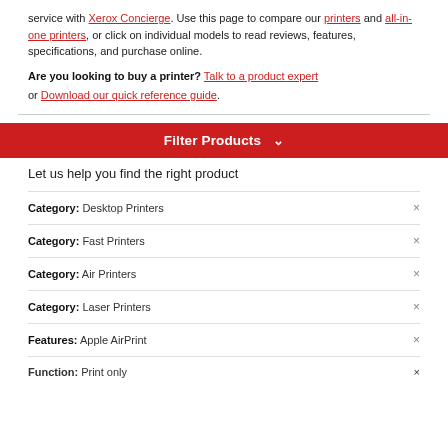service with Xerox Concierge. Use this page to compare our printers and all-in-one printers, or click on individual models to read reviews, features, specifications, and purchase online.
Are you looking to buy a printer? Talk to a product expert or Download our quick reference guide.
Filter Products
Let us help you find the right product
Category: Desktop Printers
Category: Fast Printers
Category: Air Printers
Category: Laser Printers
Features: Apple AirPrint
Function: Print only